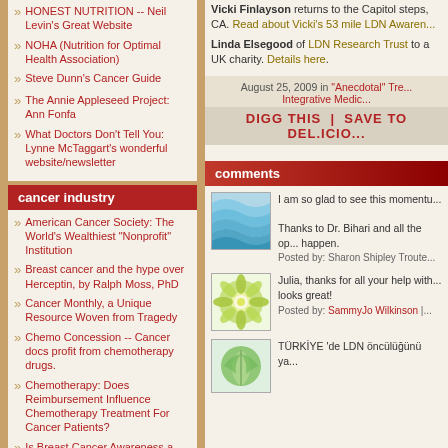HONEST NUTRITION -- Neil Levin's Great Website
NOHA (Nutrition for Optimal Health Association)
Steve Dunn's Cancer Guide
The Annie Appleseed Project: Ann Fonfa
What Doctors Don't Tell You: Lynne McTaggart's wonderful website/newsletter
cancer industry
American Cancer Society: The World's Wealthiest "Nonprofit" Institution
Breast cancer and the hype over Herceptin, by Ralph Moss, PhD
Cancer Monthly, a Unique Resource Woven from Tragedy
Chemo Concession -- Cancer docs profit from chemotherapy drugs.
Chemotherapy: Does Reimbursement Influence Chemotherapy Treatment For Cancer Patients?
Is Breast Cancer Awareness a Marketing Sham?, by Lucinda Marshall
Vicki Finlayson returns to the Capitol steps, CA. Read about Vicki's 53 mile LDN Awareness...
Linda Elsegood of LDN Research Trust to a UK charity. Details here.
August 25, 2009 in "Anecdotal" Treatments, Integrative Medicine
DIGG THIS | SAVE TO DEL.ICIO...
comments
I am so glad to see this momentu...
Thanks to Dr. Bihari and all the op... happen.
Posted by: Sharon Shipley Troute...
Julia, thanks for all your help with... looks great!
Posted by: SammyJo Wilkinson |...
TÜRKİYE 'de LDN öncülüğünü ya...